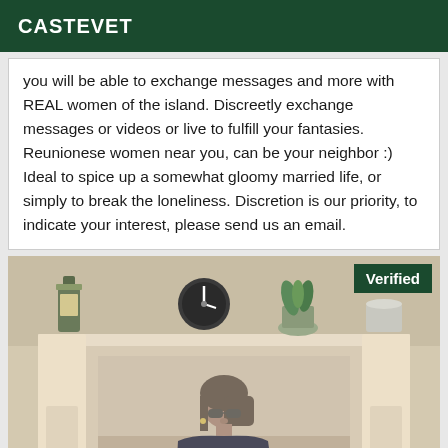CASTEVET
you will be able to exchange messages and more with REAL women of the island. Discreetly exchange messages or videos or live to fulfill your fantasies. Reunionese women near you, can be your neighbor :) Ideal to spice up a somewhat gloomy married life, or simply to break the loneliness. Discretion is our priority, to indicate your interest, please send us an email.
[Figure (photo): Photo of a woman standing in front of a cream/white fireplace mantle in a room. On the shelf above the mantle there is a clock, potted plant, and other decorative items. A green 'Verified' badge appears in the top right corner of the image.]